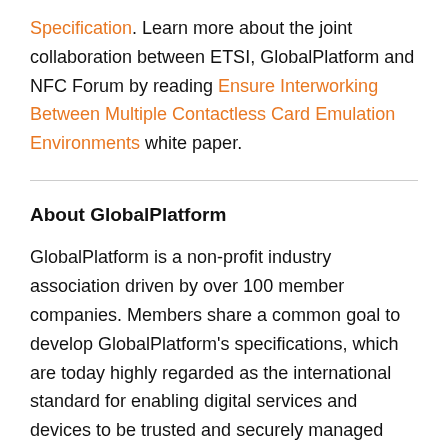Specification. Learn more about the joint collaboration between ETSI, GlobalPlatform and NFC Forum by reading Ensure Interworking Between Multiple Contactless Card Emulation Environments white paper.
About GlobalPlatform
GlobalPlatform is a non-profit industry association driven by over 100 member companies. Members share a common goal to develop GlobalPlatform's specifications, which are today highly regarded as the international standard for enabling digital services and devices to be trusted and securely managed throughout their lifecycle.
GlobalPlatform protects digital services by standardizing